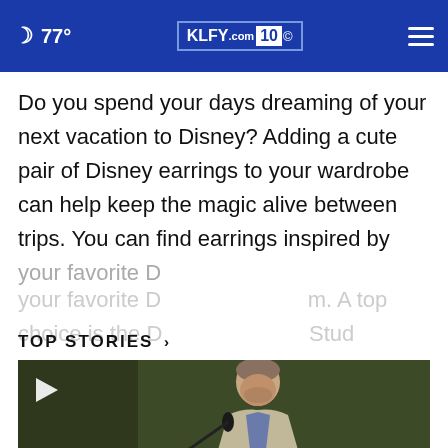🌙 77° | KLFY.com 10
Do you spend your days dreaming of your next vacation to Disney? Adding a cute pair of Disney earrings to your wardrobe can help keep the magic alive between trips. You can find earrings inspired by your favorite D[isney characters]m. A top choice is the D[isney]...Stud
CONTINUE READING
TOP STORIES ›
[Figure (screenshot): Video thumbnail showing a man in a suit speaking into a microphone at a podium, with a play button in the top left corner. Background is dark olive/green.]